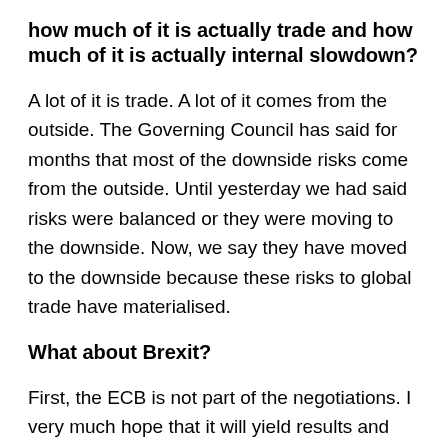how much of it is actually trade and how much of it is actually internal slowdown?
A lot of it is trade. A lot of it comes from the outside. The Governing Council has said for months that most of the downside risks come from the outside. Until yesterday we had said risks were balanced or they were moving to the downside. Now, we say they have moved to the downside because these risks to global trade have materialised.
What about Brexit?
First, the ECB is not part of the negotiations. I very much hope that it will yield results and that we can find a solution. But it's not for us to discuss. What I would say is that there are substantial risks to real growth in the United Kingdom, but also as a knock on